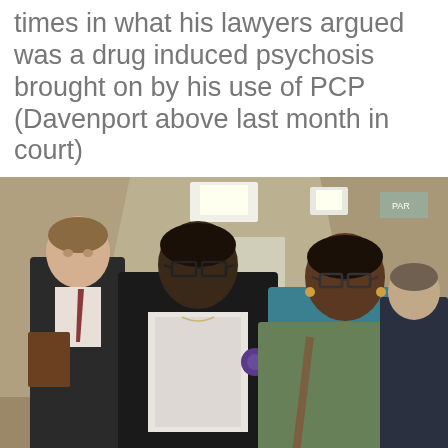times in what his lawyers argued was a drug induced psychosis brought on by his use of PCP (Davenport above last month in court)
[Figure (photo): Several people walking through a courthouse hallway. A Black woman in a dark blazer and glasses in the center, a younger Black woman in a blue shirt and green jacket to her right, a white man in a suit carrying books to her left, and a security officer in the background.]
We use cookies to ensure that we give you the best experience on our website. If you continue to use this site we will assume that you are happy with it.